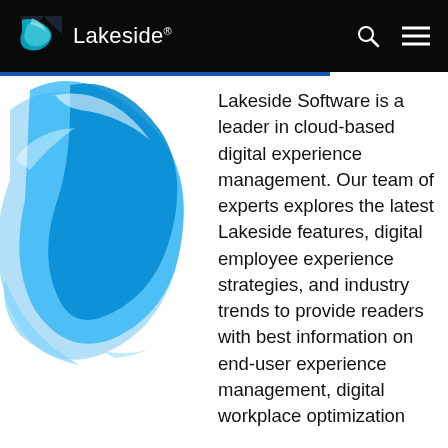Lakeside®
[Figure (logo): Lakeside Software decorative logo graphic — overlapping blue and light-blue swoosh shapes on white background]
Lakeside Software is a leader in cloud-based digital experience management. Our team of experts explores the latest Lakeside features, digital employee experience strategies, and industry trends to provide readers with best information on end-user experience management, digital workplace optimization